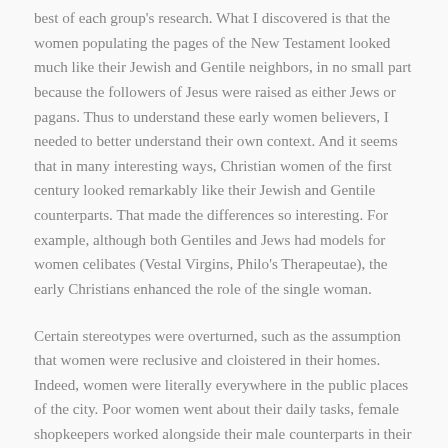best of each group's research. What I discovered is that the women populating the pages of the New Testament looked much like their Jewish and Gentile neighbors, in no small part because the followers of Jesus were raised as either Jews or pagans. Thus to understand these early women believers, I needed to better understand their own context. And it seems that in many interesting ways, Christian women of the first century looked remarkably like their Jewish and Gentile counterparts. That made the differences so interesting. For example, although both Gentiles and Jews had models for women celibates (Vestal Virgins, Philo's Therapeutae), the early Christians enhanced the role of the single woman.
Certain stereotypes were overturned, such as the assumption that women were reclusive and cloistered in their homes. Indeed, women were literally everywhere in the public places of the city. Poor women went about their daily tasks, female shopkeepers worked alongside their male counterparts in their stands, and statues of wealthy benefactors, goddesses, and the women of the imperial family decorated temples, marketplaces, and coins. At this time, class and wealth often trumped gender. Thus a wealthy woman might